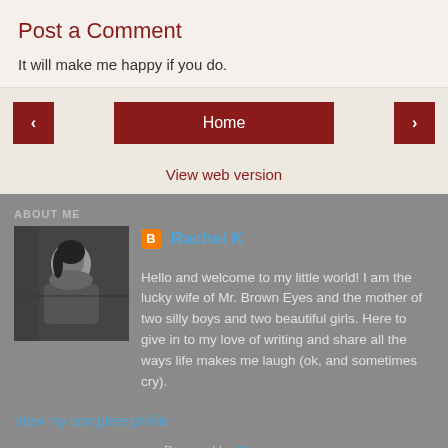Post a Comment
It will make me happy if you do.
[Figure (screenshot): Navigation bar with left arrow button, Home button, and right arrow button, all in dark red color]
View web version
ABOUT ME
Rachel K
[Figure (photo): Black and white photo of a woman (Rachel K) sitting in a car]
Hello and welcome to my little world! I am the lucky wife of Mr. Brown Eyes and the mother of two silly boys and two beautiful girls. Here to give in to my love of writing and share all the ways life makes me laugh (ok, and sometimes cry).
View my complete profile
Powered by Blogger.